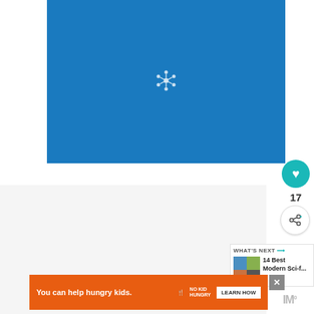[Figure (illustration): Blue book cover with a small white snowflake/molecule icon centered in the lower portion of the cover]
[Figure (infographic): Heart/like button (teal circle with white heart icon), like count of 17, and share button (white circle with share icon)]
17
[Figure (infographic): WHAT'S NEXT panel showing thumbnail and text '14 Best Modern Sci-f...']
WHAT'S NEXT
14 Best Modern Sci-f...
[Figure (other): Orange advertisement banner: 'You can help hungry kids.' with No Kid Hungry logo and LEARN HOW button]
You can help hungry kids.
LEARN HOW